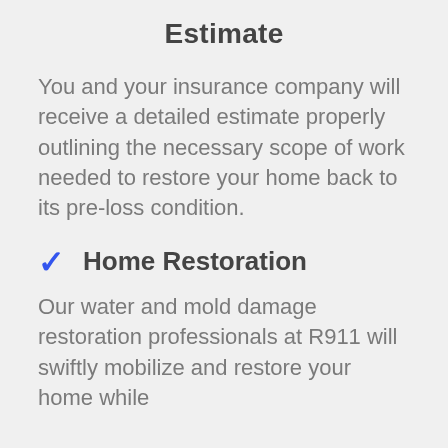Estimate
You and your insurance company will receive a detailed estimate properly outlining the necessary scope of work needed to restore your home back to its pre-loss condition.
✓  Home Restoration
Our water and mold damage restoration professionals at R911 will swiftly mobilize and restore your home while